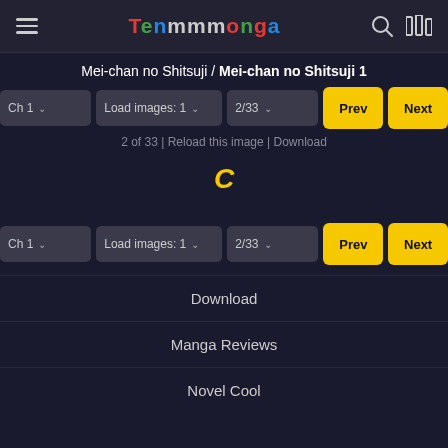TenManga
Mei-chan no Shitsuji / Mei-chan no Shitsuji 1
[Figure (screenshot): Navigation controls row 1: Ch 1 dropdown, Load images: 1 dropdown, 2/33 dropdown, Prev button, Next button]
2 of 33 | Reload this image | Download
[Figure (screenshot): Loading spinner icon (C shape in yellow)]
[Figure (screenshot): Navigation controls row 2: Ch 1 dropdown, Load images: 1 dropdown, 2/33 dropdown, Prev button, Next button]
Download
Manga Reviews
Novel Cool